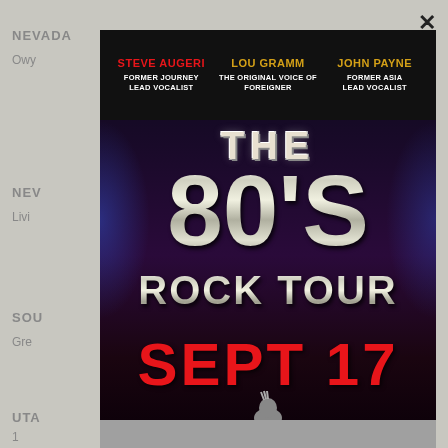NEVADA
Owy
NEV
Livi
SOU
Gre
UTA
1
[Figure (illustration): Concert poster for 'The 80's Rock Tour' featuring Steve Augeri (Former Journey Lead Vocalist), Lou Gramm (The Original Voice of Foreigner), and John Payne (Former Asia Lead Vocalist). Large chrome-style '80'S ROCK TOUR' text on dark purple/blue background. Date: SEPT 17. Horse logo at bottom. Close button (X) in top right corner.]